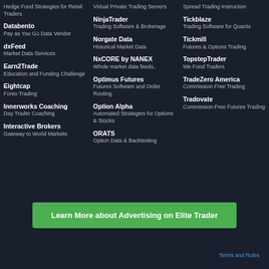Hedge Fund Strategies for Retail Traders
Databento
Pay as You Go Data Vendor
dxFeed
Market Data Services
Earn2Trade
Education and Funding Challenge
Eightcap
Forex Trading
Innerworks Coaching
Day Trader Coaching
Interactive Brokers
Gateway to World Markets
Virtual Private Trading Servers
NinjaTrader
Trading Software & Brokerage
Norgate Data
Historical Market Data
NxCORE by NANEX
Whole market data feeds..
Optimus Futures
Futures Software and Order Routing
Option Alpha
Automated Strategies for Options & Stocks
ORATS
Option Data & Backtesting
Spread Trading Instruction
Tickblaze
Trading Software for Quants
Tickmill
Futures & Options Trading
TopstepTrader
We Fund Traders
TradeZero America
Commission Free Trading
Tradovate
Commission-Free Futures Trading
Learn More about Advertising on Elite Trader
Terms and Rules